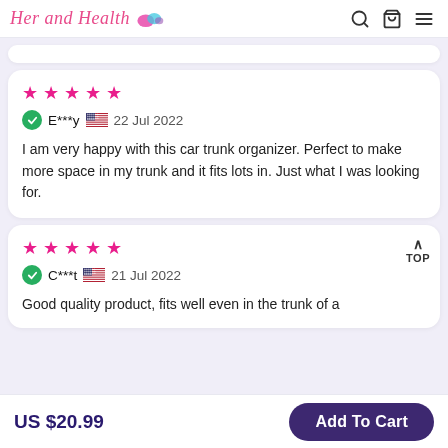Her and Health
★★★★★
E***y 🇺🇸 22 Jul 2022
I am very happy with this car trunk organizer. Perfect to make more space in my trunk and it fits lots in. Just what I was looking for.
★★★★★
C***t 🇺🇸 21 Jul 2022
Good quality product, fits well even in the trunk of a
US $20.99
Add To Cart